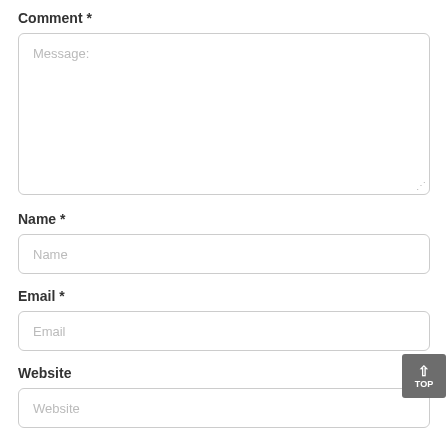Comment *
[Figure (screenshot): Large textarea input box with placeholder text 'Message:']
Name *
[Figure (screenshot): Text input box with placeholder text 'Name']
Email *
[Figure (screenshot): Text input box with placeholder text 'Email']
Website
[Figure (screenshot): Text input box with placeholder text 'Website']
[Figure (other): Gray 'TOP' button with upward arrow in the bottom-right corner]